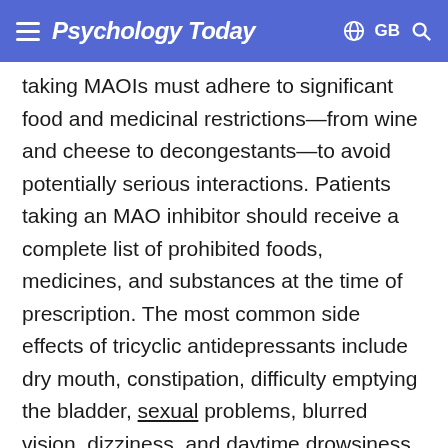Psychology Today  ⊕ GB 🔍
taking MAOIs must adhere to significant food and medicinal restrictions—from wine and cheese to decongestants—to avoid potentially serious interactions. Patients taking an MAO inhibitor should receive a complete list of prohibited foods, medicines, and substances at the time of prescription. The most common side effects of tricyclic antidepressants include dry mouth, constipation, difficulty emptying the bladder, sexual problems, blurred vision, dizziness, and daytime drowsiness. The most common side effects associated with SSRIs and SNRIs include headache, nausea, nervousness and insomnia, agitation, and decreased libido.